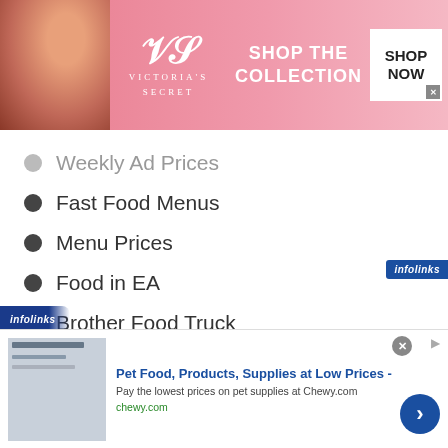[Figure (photo): Victoria's Secret advertisement banner with woman model, VS logo, 'SHOP THE COLLECTION' text and SHOP NOW button]
Weekly Ad Prices
Fast Food Menus
Menu Prices
Food in EA
Brother Food Truck
SPONSORED LINKS
[Figure (photo): Chewy.com pet food advertisement: 'Pet Food, Products, Supplies at Low Prices - Pay the lowest prices on pet supplies at Chewy.com' with infolinks badge]